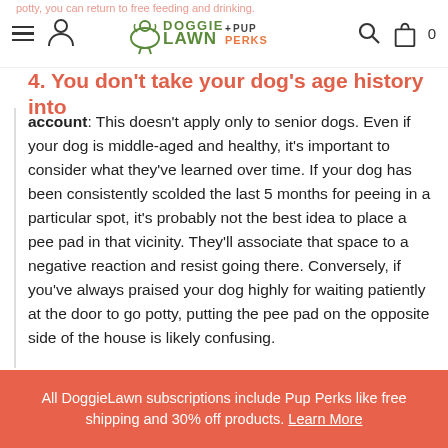potty, you can return to free feeding and drinking.
4. You don't take your dog's age history into account
account: This doesn't apply only to senior dogs. Even if your dog is middle-aged and healthy, it's important to consider what they've learned over time. If your dog has been consistently scolded the last 5 months for peeing in a particular spot, it's probably not the best idea to place a pee pad in that vicinity. They'll associate that space to a negative reaction and resist going there. Conversely, if you've always praised your dog highly for waiting patiently at the door to go potty, putting the pee pad on the opposite side of the house is likely confusing.
All DoggieLawn subscriptions include Pup Perks like free shipping and 30% off products. Learn More